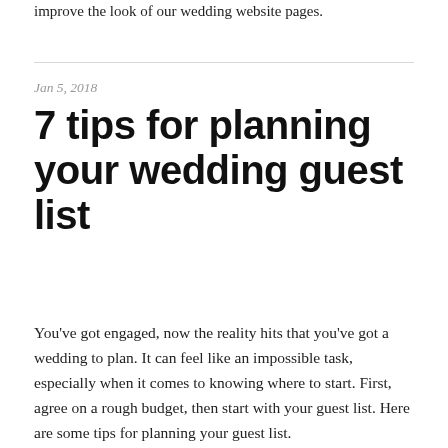improve the look of our wedding website pages.
Jan 5, 2018
7 tips for planning your wedding guest list
You've got engaged, now the reality hits that you've got a wedding to plan. It can feel like an impossible task, especially when it comes to knowing where to start. First, agree on a rough budget, then start with your guest list. Here are some tips for planning your guest list.